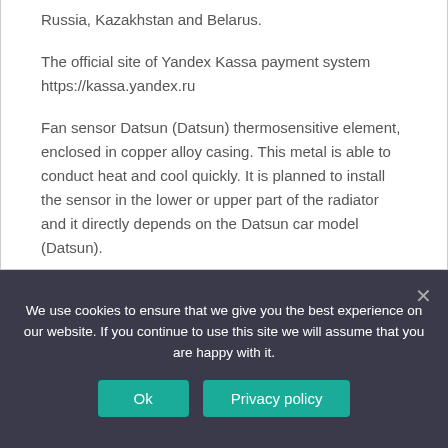Russia, Kazakhstan and Belarus.
The official site of Yandex Kassa payment system https://kassa.yandex.ru
Fan sensor Datsun (Datsun) thermosensitive element, enclosed in copper alloy casing. This metal is able to conduct heat and cool quickly. It is planned to install the sensor in the lower or upper part of the radiator and it directly depends on the Datsun car model (Datsun).
Before replacing the sensor of the fan it is necessary to check its functionality. If in operating mode there is no signal to turn on the fan requires replacement.
We use cookies to ensure that we give you the best experience on our website. If you continue to use this site we will assume that you are happy with it.